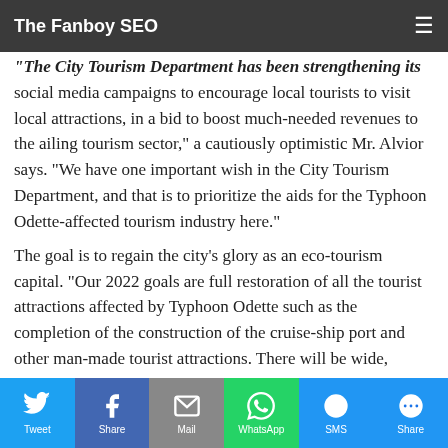The Fanboy SEO
economic losses, losing around P5 billion a year for the past two years from potential tourist receipts.
"The City Tourism Department has been strengthening its social media campaigns to encourage local tourists to visit local attractions, in a bid to boost much-needed revenues to the ailing tourism sector," a cautiously optimistic Mr. Alvior says. "We have one important wish in the City Tourism Department, and that is to prioritize the aids for the Typhoon Odette-affected tourism industry here."
The goal is to regain the city’s glory as an eco-tourism capital. “Our 2022 goals are full restoration of all the tourist attractions affected by Typhoon Odette such as the completion of the construction of the cruise-ship port and other man-made tourist attractions. There will be wide, extensive and aggressive promotions of Puerto Princesa to the local and international market.”
The Last Frontier